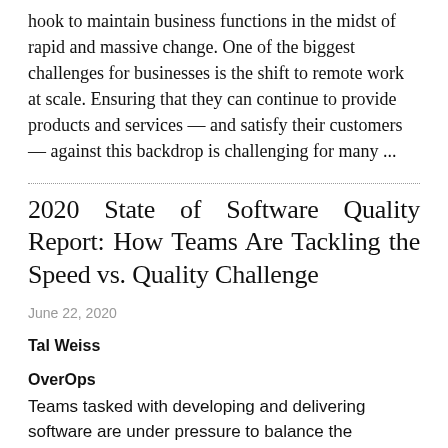hook to maintain business functions in the midst of rapid and massive change. One of the biggest challenges for businesses is the shift to remote work at scale. Ensuring that they can continue to provide products and services — and satisfy their customers — against this backdrop is challenging for many ...
2020 State of Software Quality Report: How Teams Are Tackling the Speed vs. Quality Challenge
June 22, 2020
Tal Weiss
OverOps
Teams tasked with developing and delivering software are under pressure to balance the business imperative for speed with high customer expectations for quality. In the course of trying to achieve this balance, engineering organizations rely on a variety of tools, techniques and processes. The 2020 State of Software Quality report provides a snapshot of the